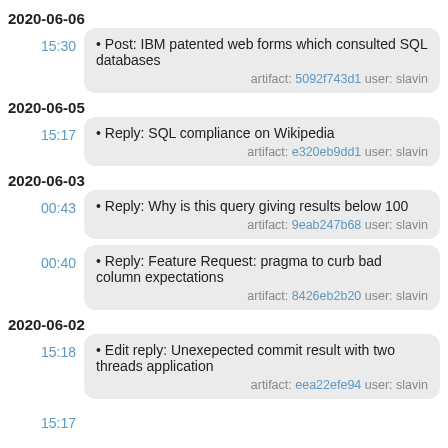2020-06-06
• Post: IBM patented web forms which consulted SQL databases
artifact: 5092f743d1 user: slavin
2020-06-05
• Reply: SQL compliance on Wikipedia
artifact: e320eb9dd1 user: slavin
2020-06-03
• Reply: Why is this query giving results below 100
artifact: 9eab247b68 user: slavin
• Reply: Feature Request: pragma to curb bad column expectations
artifact: 8426eb2b20 user: slavin
2020-06-02
• Edit reply: Unexepected commit result with two threads application
artifact: eea22efe94 user: slavin
15:17